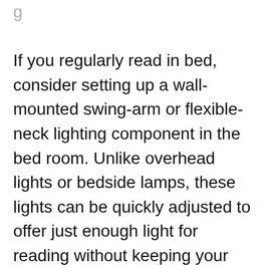If you regularly read in bed, consider setting up a wall-mounted swing-arm or flexible-neck lighting component in the bed room. Unlike overhead lights or bedside lamps, these lights can be quickly adjusted to offer just enough light for reading without keeping your bed mate awake with an extreme radiance. This will also help you to avoid eye strain from reading in dim light